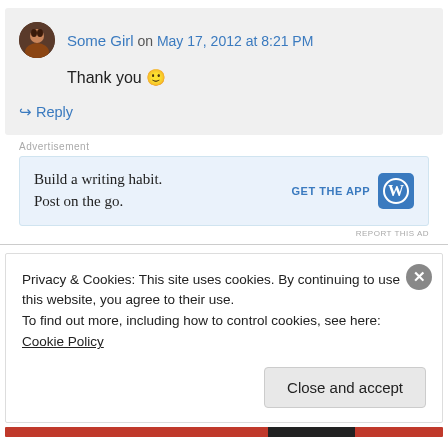Some Girl on May 17, 2012 at 8:21 PM
Thank you 🙂
↪ Reply
[Figure (infographic): WordPress advertisement banner: 'Build a writing habit. Post on the go.' with GET THE APP button and WordPress logo]
Privacy & Cookies: This site uses cookies. By continuing to use this website, you agree to their use. To find out more, including how to control cookies, see here: Cookie Policy
Close and accept